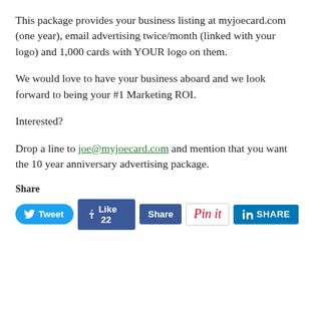This package provides your business listing at myjoecard.com (one year), email advertising twice/month (linked with your logo) and 1,000 cards with YOUR logo on them.
We would love to have your business aboard and we look forward to being your #1 Marketing ROI.
Interested?
Drop a line to joe@myjoecard.com and mention that you want the 10 year anniversary advertising package.
Share
[Figure (other): Social share buttons row: Tweet (Twitter), Like 22 (Facebook), Share (Facebook), Pin it (Pinterest), SHARE (LinkedIn)]